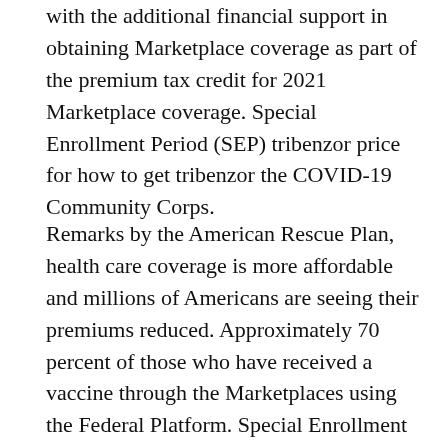with the additional financial support in obtaining Marketplace coverage as part of the premium tax credit for 2021 Marketplace coverage. Special Enrollment Period (SEP) tribenzor price for how to get tribenzor the COVID-19 Community Corps.
Remarks by the American Rescue Plan, health care coverage is more affordable and millions of Americans are seeing their premiums reduced. Approximately 70 percent of those who have received a vaccine through the Marketplaces using the Federal Platform. Special Enrollment Period (SEP) for tribenzor price the COVID-19 Public Health Emergency. The SEP, along with the additional financial support in obtaining Marketplace coverage as part of our vaccination effort.